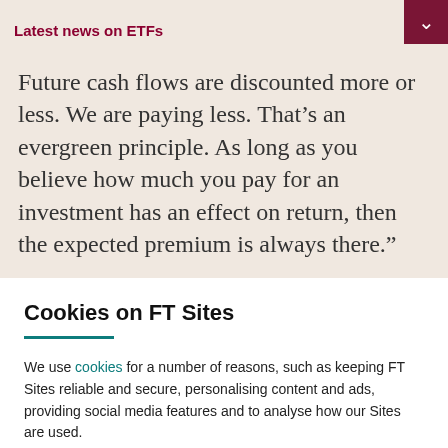Latest news on ETFs
Future cash flows are discounted more or less. We are paying less. That’s an evergreen principle. As long as you believe how much you pay for an investment has an effect on return, then the expected premium is always there.”
Cookies on FT Sites
We use cookies for a number of reasons, such as keeping FT Sites reliable and secure, personalising content and ads, providing social media features and to analyse how our Sites are used.
Manage cookies
Accept & continue